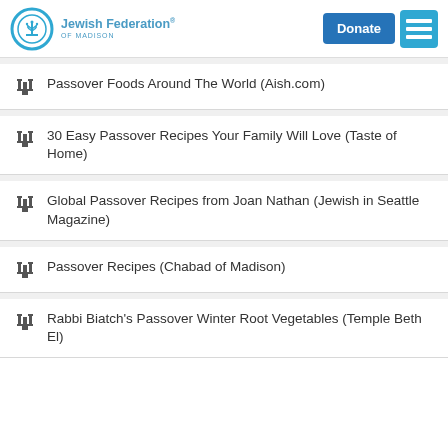Jewish Federation® of Madison — Donate
Passover Foods Around The World (Aish.com)
30 Easy Passover Recipes Your Family Will Love (Taste of Home)
Global Passover Recipes from Joan Nathan (Jewish in Seattle Magazine)
Passover Recipes (Chabad of Madison)
Rabbi Biatch's Passover Winter Root Vegetables (Temple Beth El)